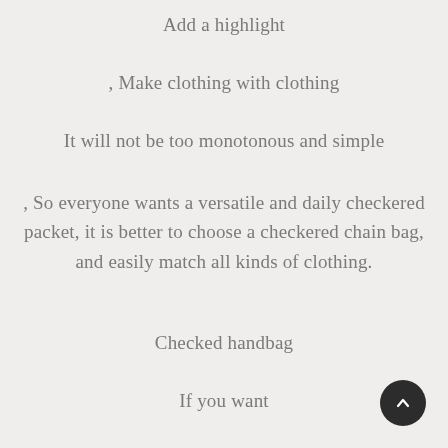Add a highlight
, Make clothing with clothing
It will not be too monotonous and simple
, So everyone wants a versatile and daily checkered packet, it is better to choose a checkered chain bag, and easily match all kinds of clothing.
Checked handbag
If you want